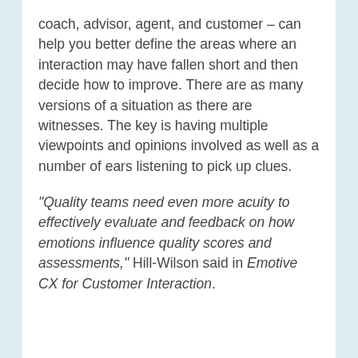coach, advisor, agent, and customer – can help you better define the areas where an interaction may have fallen short and then decide how to improve. There are as many versions of a situation as there are witnesses. The key is having multiple viewpoints and opinions involved as well as a number of ears listening to pick up clues.
“Quality teams need even more acuity to effectively evaluate and feedback on how emotions influence quality scores and assessments,” Hill-Wilson said in Emotive CX for Customer Interaction.